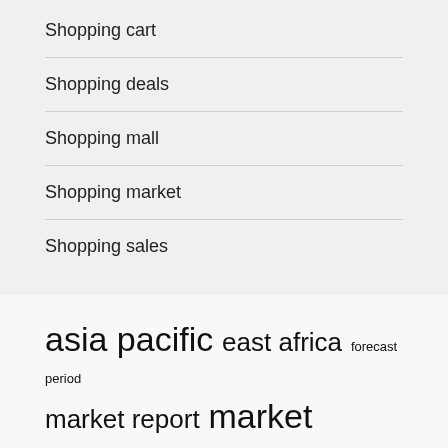Shopping cart
Shopping deals
Shopping mall
Shopping market
Shopping sales
asia pacific  east africa  forecast period  market report  market research  market share  market size  middle east  north america  online shopping  real estate  shopping carts